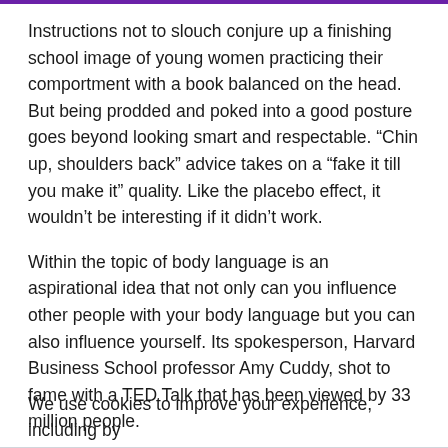Instructions not to slouch conjure up a finishing school image of young women practicing their comportment with a book balanced on the head. But being prodded and poked into a good posture goes beyond looking smart and respectable. “Chin up, shoulders back” advice takes on a “fake it till you make it” quality. Like the placebo effect, it wouldn’t be interesting if it didn’t work.
Within the topic of body language is an aspirational idea that not only can you influence other people with your body language but you can also influence yourself. Its spokesperson, Harvard Business School professor Amy Cuddy, shot to fame with a TED Talk that has been viewed by 33 million people.
Watch Amy Cuddy’s TED Talk here.
We use cookies to improve your experience, including by